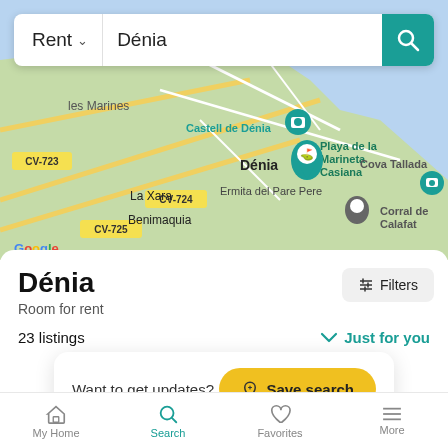[Figure (map): Google Maps view showing Dénia, Spain with road labels CV-723, CV-724, CV-725, locations: Castell de Dénia, Playa de la Marineta Casiana, Corral de Calafat, Cova Tallada, La Xara, Ermita del Pare Pere, Benimaquia, les Marines]
Rent ∨
Dénia
Dénia
Room for rent
≡ Filters
23 listings
∨ Just for you
Want to get updates?
🔔 Save search
My Home | Search | Favorites | More